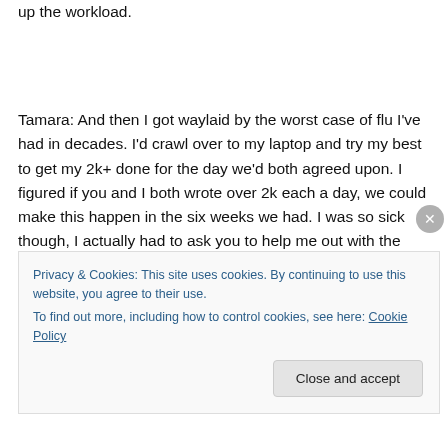up the workload.
Tamara: And then I got waylaid by the worst case of flu I've had in decades. I'd crawl over to my laptop and try my best to get my 2k+ done for the day we'd both agreed upon. I figured if you and I both wrote over 2k each a day, we could make this happen in the six weeks we had. I was so sick though, I actually had to ask you to help me out with the fight scenes and such because my brain was
Privacy & Cookies: This site uses cookies. By continuing to use this website, you agree to their use.
To find out more, including how to control cookies, see here: Cookie Policy